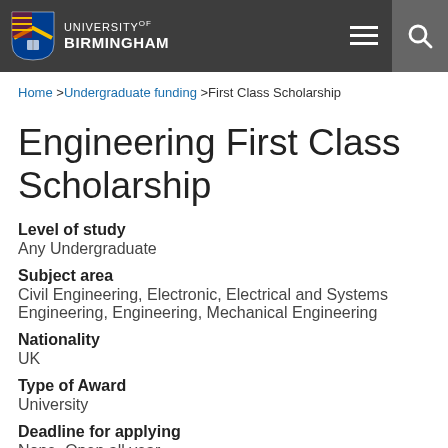University of Birmingham
Home > Undergraduate funding > First Class Scholarship
Engineering First Class Scholarship
Level of study
Any Undergraduate
Subject area
Civil Engineering, Electronic, Electrical and Systems Engineering, Engineering, Mechanical Engineering
Nationality
UK
Type of Award
University
Deadline for applying
None, Open all year